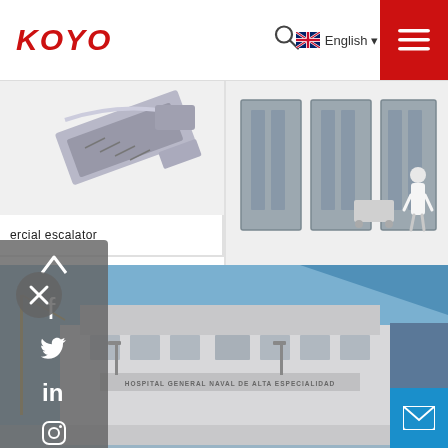[Figure (logo): KOYO logo in red italic bold text]
🔍  🇬🇧 English ▾  ☰
[Figure (photo): Commercial escalator image, diagonal conveyor structure on white background]
ercial escalator
[Figure (photo): Hospital corridor with gray elevator doors and a person in white coat walking]
KOYO Intelligent stability Medical Elevator
[Figure (photo): Hospital General Naval de Alta Especialidad building exterior with blue sky]